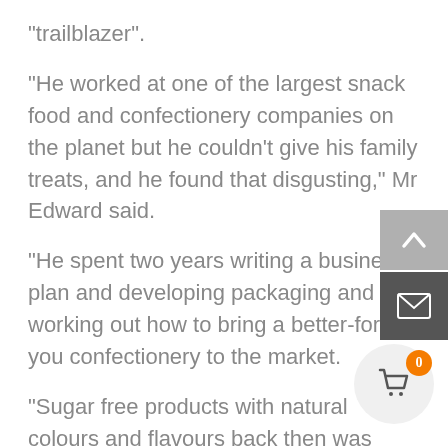“trailblazer”.
“He worked at one of the largest snack food and confectionery companies on the planet but he couldn’t give his family treats, and he found that disgusting,” Mr Edward said.
“He spent two years writing a business plan and developing packaging and working out how to bring a better-for-you confectionery to the market.
“Sugar free products with natural colours and flavours back then was trailblazing — it was a whole new market.”
He praised his father’s foresight in contacting A… before the supermarket chain reached Australian shores.